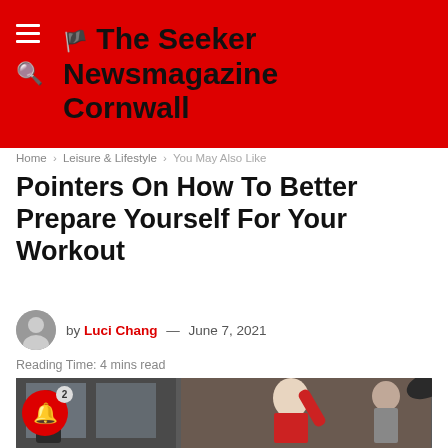The Seeker Newsmagazine Cornwall
Home > Leisure & Lifestyle > You May Also Like
Pointers On How To Better Prepare Yourself For Your Workout
by Luci Chang — June 7, 2021
Reading Time: 4 mins read
[Figure (photo): Woman in red tank top performing a high kick in a gym setting with other people in the background]